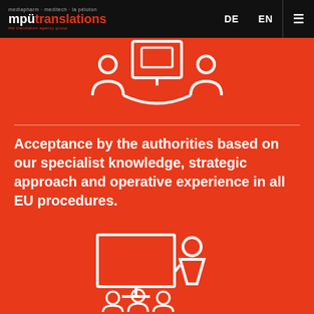mpütranslations — DE EN navigation
[Figure (illustration): White line icon of two people at a meeting table with a screen/document between them, on red background]
Acceptance by the authorities based on our specialist knowledge, strategic approach and operative experience in all EU procedures.
[Figure (illustration): White line icon of a presenter at a whiteboard/screen with three audience members seated below, on red background]